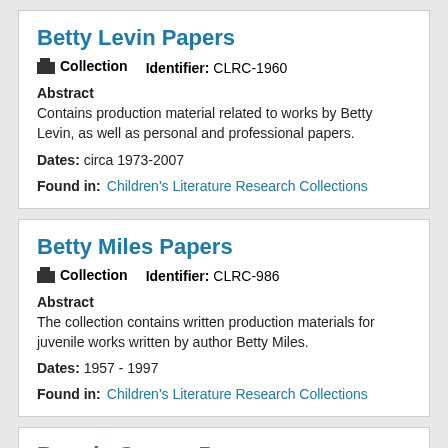Betty Levin Papers
Collection   Identifier: CLRC-1960
Abstract
Contains production material related to works by Betty Levin, as well as personal and professional papers.
Dates: circa 1973-2007
Found in:   Children's Literature Research Collections
Betty Miles Papers
Collection   Identifier: CLRC-986
Abstract
The collection contains written production materials for juvenile works written by author Betty Miles.
Dates: 1957 - 1997
Found in:   Children's Literature Research Collections
Bonnie Graves Papers